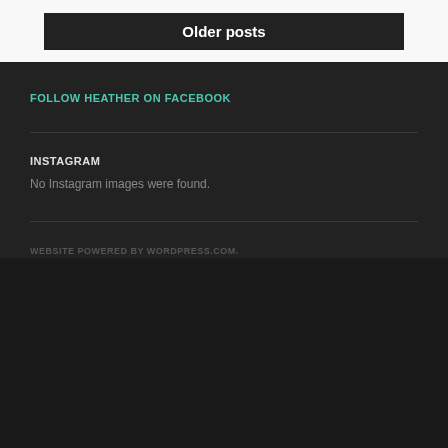Older posts
FOLLOW HEATHER ON FACEBOOK
INSTAGRAM
No Instagram images were found.
WEBSITE POWERED BY WORDPRESS.COM.